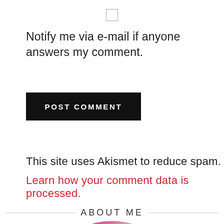[Figure (other): Checkbox (unchecked) centered at top of page]
Notify me via e-mail if anyone answers my comment.
[Figure (other): Black 'POST COMMENT' button]
This site uses Akismet to reduce spam. Learn how your comment data is processed.
ABOUT ME
[Figure (photo): Circular profile photo partially visible at bottom of page]